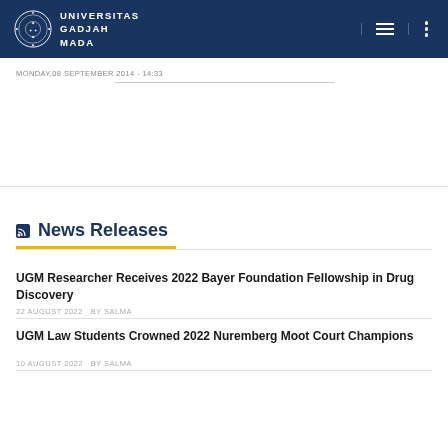UNIVERSITAS GADJAH MADA
MONDAY,08 SEPTEMBER 2014 - 14:33
News Releases
UGM Researcher Receives 2022 Bayer Foundation Fellowship in Drug Discovery
22 AUGUST 2022   BY SALMA
UGM Law Students Crowned 2022 Nuremberg Moot Court Champions
10 AUGUST 2022   BY SALMA